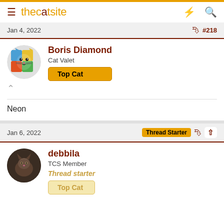thecatsite
Jan 4, 2022  #218
Boris Diamond
Cat Valet
Top Cat
Neon
Jan 6, 2022  Thread Starter  #↑
debbila
TCS Member
Thread starter
Top Cat